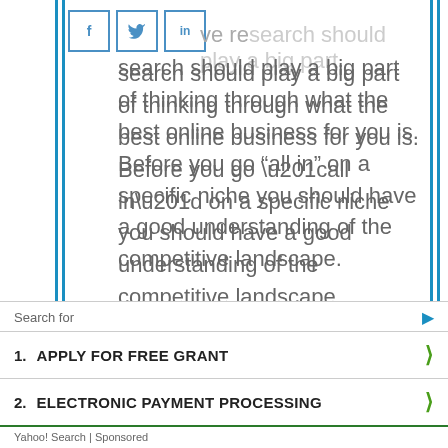[Figure (other): Social share buttons: Facebook (f), Twitter (bird icon), LinkedIn (in)]
ve research should play a big part of thinking through what the best online business for you is. Before you go “all in” on a specific niche you should have a good understanding of the competitive landscape.
Understanding the big and small players in the space and how they are acquiring customers will tell you a great deal about the potential for success
Search for
1. APPLY FOR FREE GRANT
2. ELECTRONIC PAYMENT PROCESSING
Yahoo! Search | Sponsored